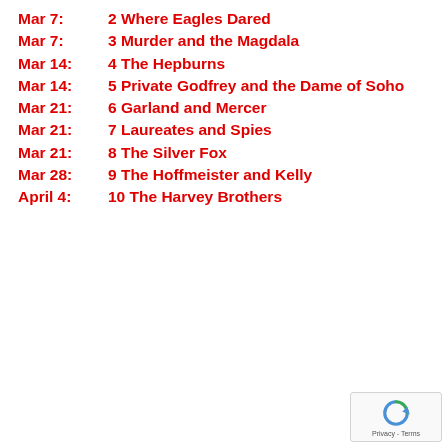Mar 7:   2 Where Eagles Dared
Mar 7:   3 Murder and the Magdala
Mar 14:   4 The Hepburns
Mar 14:   5 Private Godfrey and the Dame of Soho
Mar 21:   6 Garland and Mercer
Mar 21:   7 Laureates and Spies
Mar 21:   8 The Silver Fox
Mar 28:   9 The Hoffmeister and Kelly
April 4:   10 The Harvey Brothers